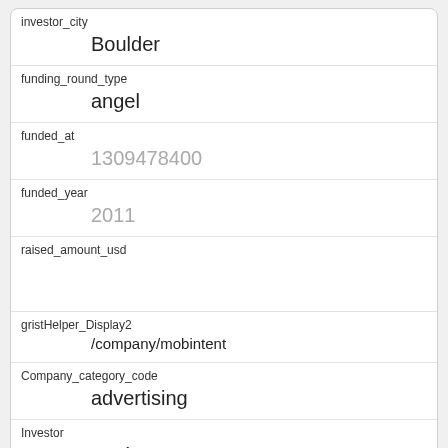| Field | Value |
| --- | --- |
| investor_city | Boulder |
| funding_round_type | angel |
| funded_at | 1309478400 |
| funded_year | 2011 |
| raised_amount_usd |  |
| gristHelper_Display2 | /company/mobintent |
| Company_category_code | advertising |
| Investor | Techstars
https://www.crunchbase.com/company/techstars |
| Field | Value |
| --- | --- |
| id | 353 |